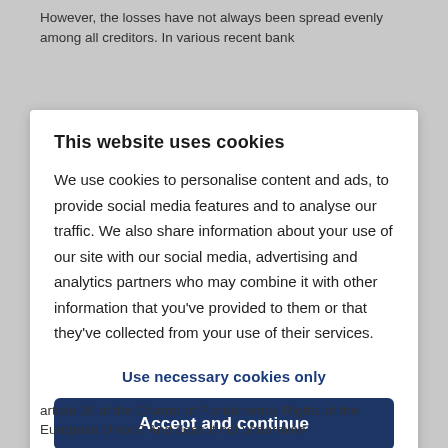However, the losses have not always been spread evenly among all creditors. In various recent bank
This website uses cookies
We use cookies to personalise content and ads, to provide social media features and to analyse our traffic. We also share information about your use of our site with our social media, advertising and analytics partners who may combine it with other information that you’ve provided to them or that they’ve collected from your use of their services.
Use necessary cookies only
Accept and continue
article 20 of the Charter of Fundamental Rights of the European Union? And does it not undermine